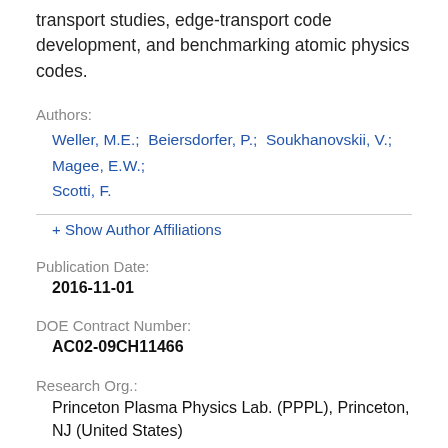transport studies, edge-transport code development, and benchmarking atomic physics codes.
Authors:
Weller, M.E.;  Beiersdorfer, P.;  Soukhanovskii, V.;  Magee, E.W.;  Scotti, F.
+ Show Author Affiliations
Publication Date:
2016-11-01
DOE Contract Number:
AC02-09CH11466
Research Org.:
Princeton Plasma Physics Lab. (PPPL), Princeton, NJ (United States)
Sponsoring Org.:
USDOE Office of Science (SC), Fusion Energy Sciences (FES)